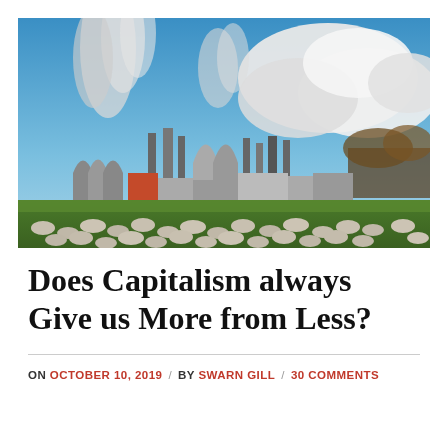[Figure (photo): Industrial power plant with large cooling towers emitting white steam/smoke into a blue sky with dramatic clouds. In the foreground, a flock of sheep grazes on a green field.]
Does Capitalism always Give us More from Less?
ON OCTOBER 10, 2019 / BY SWARN GILL / 30 COMMENTS